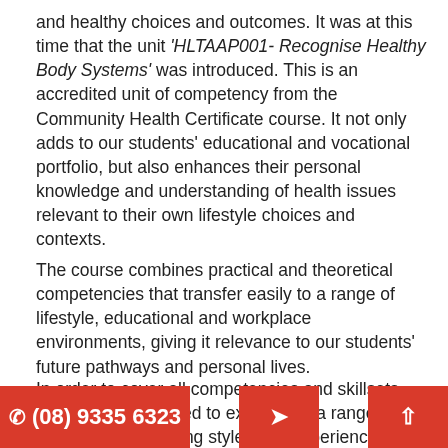and healthy choices and outcomes. It was at this time that the unit 'HLTAAP001- Recognise Healthy Body Systems' was introduced. This is an accredited unit of competency from the Community Health Certificate course. It not only adds to our students' educational and vocational portfolio, but also enhances their personal knowledge and understanding of health issues relevant to their own lifestyle choices and contexts.
The course combines practical and theoretical competencies that transfer easily to a range of lifestyle, educational and workplace environments, giving it relevance to our students' future pathways and personal lives.
In order to cover all competencies and skillsets, students are required to experience a range of teaching and learning styles and experiences, including the Direct Instructional (Didactic) method, and the more Socratic Community of